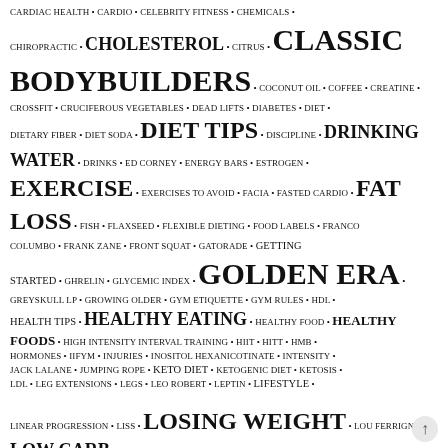CARDIAC HEALTH • CARDIO • CELEBRITY FITNESS • CHEMICALS • CHIROPRACTIC • CHOLESTEROL • CITRUS • CLASSIC BODYBUILDERS • COCONUT OIL • COFFEE • CREATINE • CROSSFIT • CRUCIFEROUS VEGETABLES • DEAD LIFTS • DIABETES • DIET • DIETARY FIBER • DIET SODA • DIET TIPS • DISCIPLINE • DRINKING WATER • DRINKS • ED CORNEY • ENERGY BARS • ESTROGEN • EXERCISE • EXERCISES TO AVOID • FACIA • FASTED CARDIO • FAT LOSS • FISH • FLAXSEED • FLEXIBLE DIETING • FOOD LABELS • FRANCO COLUMBO • FRANK ZANE • FRONT SQUAT • GATORADE • GETTING STARTED • GHRELIN • GLYCEMIC INDEX • GOLDEN ERA • GREYSKULL LP • GROWING OLDER • GYM ETIQUETTE • GYM RULES • HDL • HEALTH TIPS • HEALTHY EATING • HEALTHY FOOD • HEALTHY FOODS • HIGH INTENSITY INTERVAL TRAINING • HIIT • HITT • HMB • HORMONES • IIFYM • INJURIES • INOSITOL HEXANICOTINATE • INTENSITY • JACK LALANE • JUMPING ROPE • KETO DIET • KETOGENIC DIET • KETOSIS • LDL • LEG EXTENSIONS • LEGS • LEO ROBERT • LEPTIN • LIFESTYLE • LINEAR PROGRESSION • LISS • LOSING WEIGHT • LOU FERRIGNO • LOW CARB • MACRO DIETING • MACROS • MEAL REPLACEMENT BARS • MEDITERRANEAN DIET • MIKE MENTZER • MONOUNSATURATED FAT • MOTIVATION • NASAL CONGESTION • NIACIN • NIACIN FLUSH • NON-FASTED